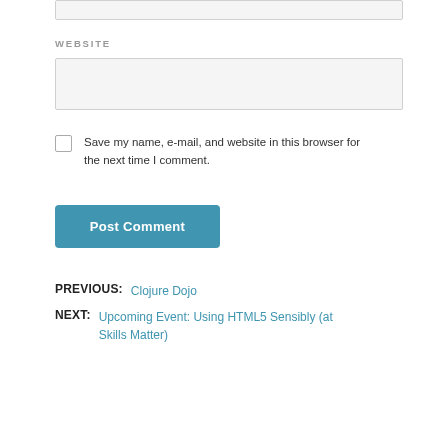WEBSITE
Save my name, e-mail, and website in this browser for the next time I comment.
Post Comment
PREVIOUS:  Clojure Dojo
NEXT:  Upcoming Event: Using HTML5 Sensibly (at Skills Matter)